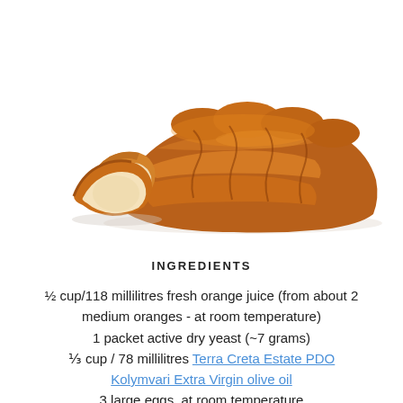[Figure (photo): A braided challah-style bread loaf with two slices cut, showing golden-brown glazed crust and soft pale interior, on a white background.]
INGREDIENTS
½ cup/118 millilitres fresh orange juice (from about 2 medium oranges - at room temperature)
1 packet active dry yeast (~7 grams)
⅓ cup / 78 millilitres Terra Creta Estate PDO Kolymvari Extra Virgin olive oil
3 large eggs, at room temperature